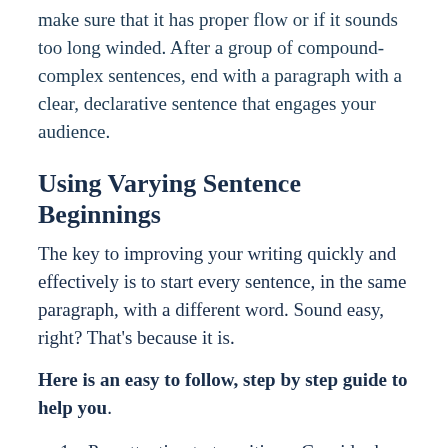make sure that it has proper flow or if it sounds too long winded. After a group of compound-complex sentences, end with a paragraph with a clear, declarative sentence that engages your audience.
Using Varying Sentence Beginnings
The key to improving your writing quickly and effectively is to start every sentence, in the same paragraph, with a different word. Sound easy, right? That’s because it is.
Here is an easy to follow, step by step guide to help you.
Pay attention to transitions: Consider how each sentence in the paragraph is connected to each